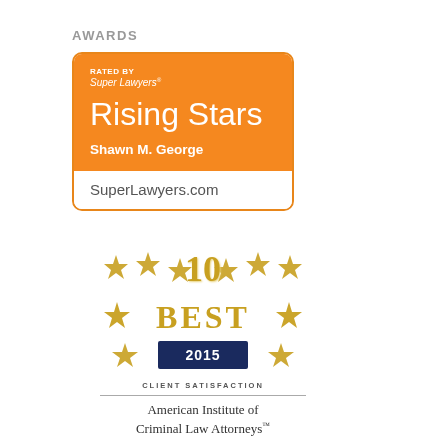AWARDS
[Figure (logo): Super Lawyers Rising Stars badge for Shawn M. George, orange rounded rectangle with white text, SuperLawyers.com at bottom]
[Figure (logo): 10 Best 2015 Client Satisfaction badge with gold stars and gold '10 BEST' text, dark blue 2015 box, American Institute of Criminal Law Attorneys TM]